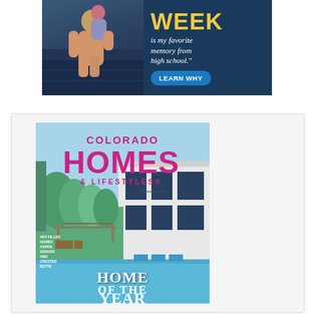[Figure (photo): Advertisement banner with a photo of a person and child on the left, yellow 'WEEK' text, italic tagline 'is my favorite memory from high school.' and a blue 'LEARN WHY' button on dark blue background]
[Figure (photo): Colorado Homes & Lifestyles magazine cover featuring a modern white house with pool, lush greenery, and 'HOME OF THE YEAR' text overlay. Magazine title in large pink/magenta letters.]